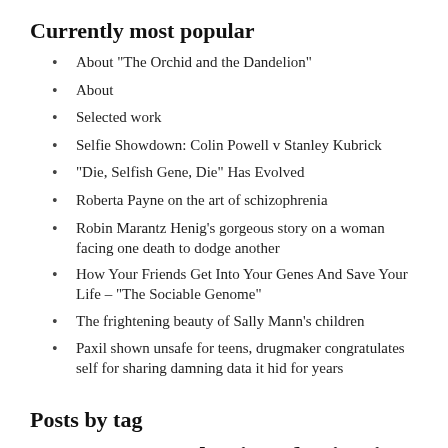Currently most popular
About "The Orchid and the Dandelion"
About
Selected work
Selfie Showdown: Colin Powell v Stanley Kubrick
"Die, Selfish Gene, Die" Has Evolved
Roberta Payne on the art of schizophrenia
Robin Marantz Henig's gorgeous story on a woman facing one death to dodge another
How Your Friends Get Into Your Genes And Save Your Life – "The Sociable Genome"
The frightening beauty of Sally Mann's children
Paxil shown unsafe for teens, drugmaker congratulates self for sharing damning data it hid for years
Posts by tag
Arsenic baseball Behavior of Scientists